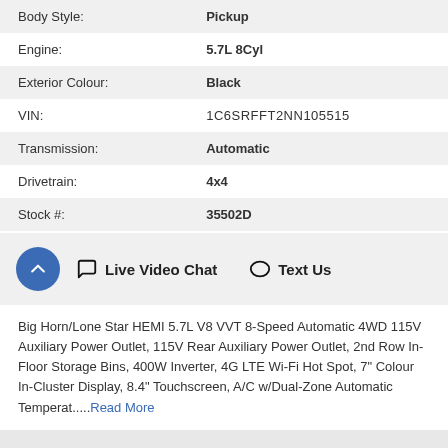| Body Style: | Pickup |
| Engine: | 5.7L 8Cyl |
| Exterior Colour: | Black |
| VIN: | 1C6SRFFT2NN105515 |
| Transmission: | Automatic |
| Drivetrain: | 4x4 |
| Stock #: | 35502D |
Live Video Chat   Text Us
Big Horn/Lone Star HEMI 5.7L V8 VVT 8-Speed Automatic 4WD 115V Auxiliary Power Outlet, 115V Rear Auxiliary Power Outlet, 2nd Row In-Floor Storage Bins, 400W Inverter, 4G LTE Wi-Fi Hot Spot, 7" Colour In-Cluster Display, 8.4" Touchscreen, A/C w/Dual-Zone Automatic Temperat.....Read More